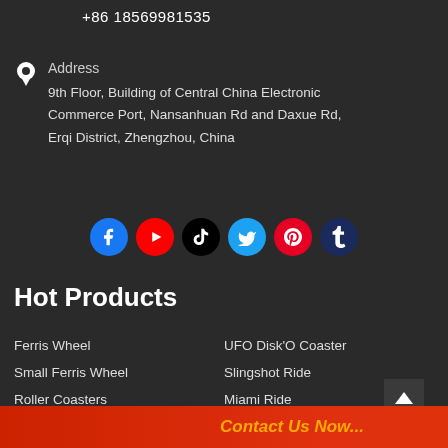+86 18569981535
Address
9th Floor, Building of Central China Electronic Commerce Port, Nansanhuan Rd and Daxue Rd, Erqi District, Zhengzhou, China
[Figure (infographic): Social media icons row: Facebook, YouTube, TikTok, Twitter, Pinterest, Tumblr]
Hot Products
Ferris Wheel
UFO Disk'O Coaster
Small Ferris Wheel
Slingshot Ride
Roller Coasters
Miami Ride
Small Roller Coaster
Pendulum Rides
Trackless Trains
Pirate Ship Ride
Self Control Ai...
Contact Us Now...